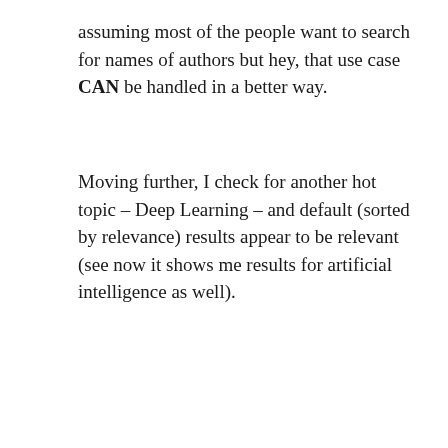assuming most of the people want to search for names of authors but hey, that use case CAN be handled in a better way.
Moving further, I check for another hot topic – Deep Learning – and default (sorted by relevance) results appear to be relevant (see now it shows me results for artificial intelligence as well).